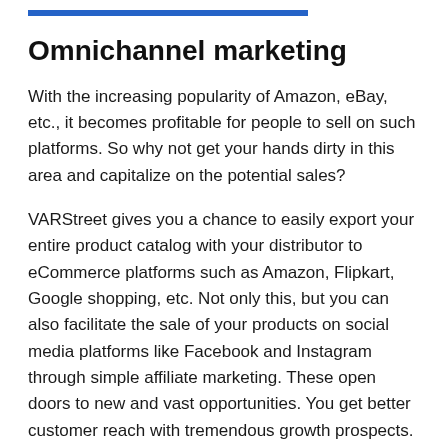Omnichannel marketing
With the increasing popularity of Amazon, eBay, etc., it becomes profitable for people to sell on such platforms. So why not get your hands dirty in this area and capitalize on the potential sales?
VARStreet gives you a chance to easily export your entire product catalog with your distributor to eCommerce platforms such as Amazon, Flipkart, Google shopping, etc. Not only this, but you can also facilitate the sale of your products on social media platforms like Facebook and Instagram through simple affiliate marketing. These open doors to new and vast opportunities. You get better customer reach with tremendous growth prospects. You can easily make a solid brand out of your business if done right.
But wait, if you thought this was it, then you are wrong.